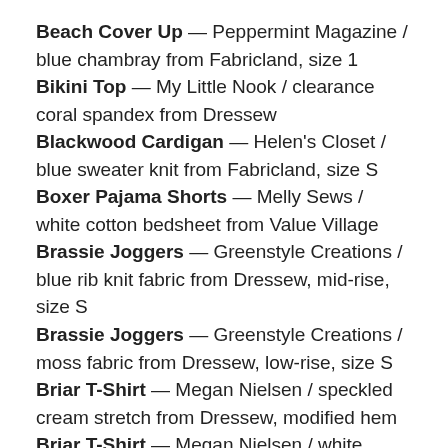Beach Cover Up — Peppermint Magazine / blue chambray from Fabricland, size 1
Bikini Top — My Little Nook / clearance coral spandex from Dressew
Blackwood Cardigan — Helen's Closet / blue sweater knit from Fabricland, size S
Boxer Pajama Shorts — Melly Sews / white cotton bedsheet from Value Village
Brassie Joggers — Greenstyle Creations / blue rib knit fabric from Dressew, mid-rise, size S
Brassie Joggers — Greenstyle Creations / moss fabric from Dressew, low-rise, size S
Briar T-Shirt — Megan Nielsen / speckled cream stretch from Dressew, modified hem
Briar T-Shirt — Megan Nielsen / white jersey from Dressew, modified hem
Briar T-Shirt — Megan Nielsen / white light weight jersey from Dressew, modified unfinished hem
Briar T-Shirt — Megan Nielsen / ...